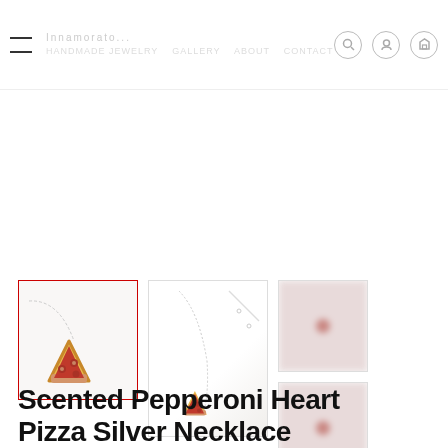[Figure (photo): Thumbnail 1: Pizza slice charm necklace on chain, close-up. Active/selected thumbnail with red border.]
[Figure (photo): Thumbnail 2: Pizza slice charm necklace on white plate background, showing full necklace chain.]
[Figure (photo): Thumbnail 3: Blurred/redacted image with pink dot.]
[Figure (photo): Thumbnail 4: Blurred/redacted image with pink dot.]
Scented Pepperoni Heart Pizza Silver Necklace